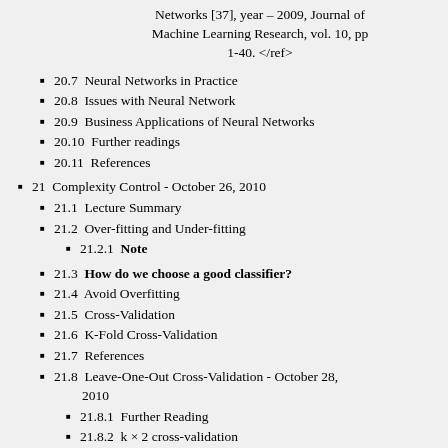Networks [37], year – 2009, Journal of Machine Learning Research, vol. 10, pp 1-40. </ref>
20.7  Neural Networks in Practice
20.8  Issues with Neural Network
20.9  Business Applications of Neural Networks
20.10  Further readings
20.11  References
21  Complexity Control - October 26, 2010
21.1  Lecture Summary
21.2  Over-fitting and Under-fitting
21.2.1  Note
21.3  How do we choose a good classifier?
21.4  Avoid Overfitting
21.5  Cross-Validation
21.6  K-Fold Cross-Validation
21.7  References
21.8  Leave-One-Out Cross-Validation - October 28, 2010
21.8.1  Further Reading
21.8.2  k × 2 cross-validation
21.9  References
22  Radial Basis Function (RBF) Network - October 28, 2010